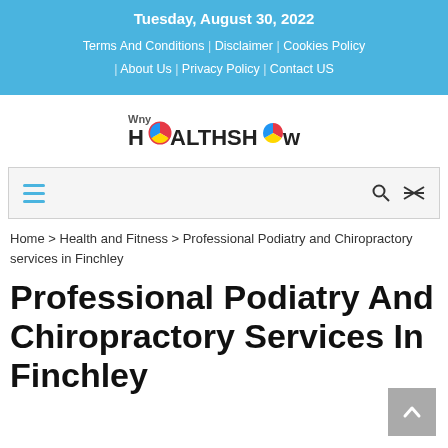Tuesday, August 30, 2022
Terms And Conditions | Disclaimer | Cookies Policy | About Us | Privacy Policy | Contact US
[Figure (logo): WnyHealthShow logo with colorful circular icon]
Home > Health and Fitness > Professional Podiatry and Chiropractory services in Finchley
Professional Podiatry And Chiropractory Services In Finchley